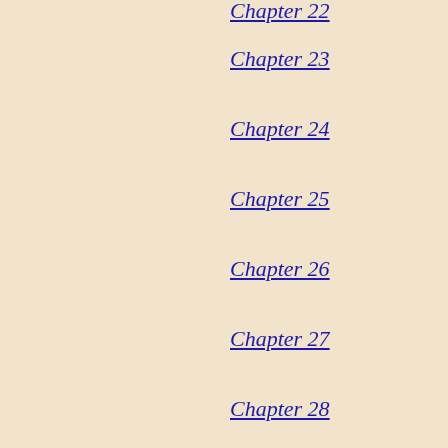Chapter 22
Chapter 23
Chapter 24
Chapter 25
Chapter 26
Chapter 27
Chapter 28
Chapter 29
Chapter 30
Chapter 31
Chapter 32
Chapter 33
Chapter 34
Chapter 35
Chapter 36
Chapter 37